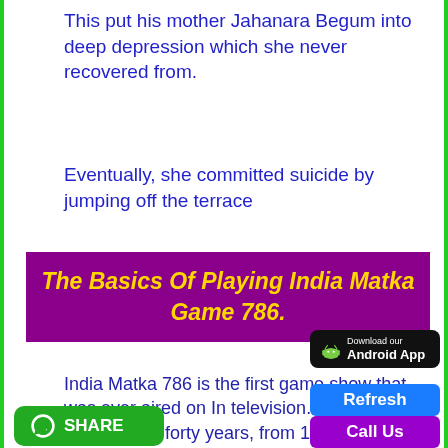This put his mother Jahanara Begum into deep depression which she never recovered from.
Eventually, she committed suicide by jumping off the terrace
[Figure (other): Purple banner with yellow bold italic text: The Basics Of Playing India Matka Game 786.]
India Matka 786 is the first game show that was ever aired on Indian television. It ran on Sundays for over forty years, from 1951 to 1991.
[Figure (other): Download our Android App button (black, with Android robot icon)]
[Figure (other): Refresh button (blue)]
[Figure (other): Call Us button (purple)]
[Figure (other): WhatsApp Share button (green, bottom left)]